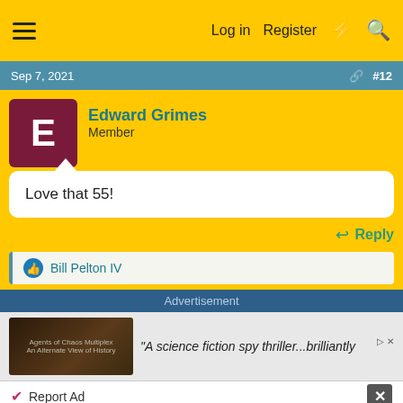≡   Log in   Register   ⚡   🔍
Sep 7, 2021   #12
E
Edward Grimes
Member
Love that 55!
↩ Reply
👍 Bill Pelton IV
Advertisement
[Figure (screenshot): Advertisement banner with dark background showing book cover for a science fiction spy thriller]
"A science fiction spy thriller...brilliantly
Report Ad
[Figure (screenshot): Vrbo advertisement banner: Find family getaways nearby with Book early button]